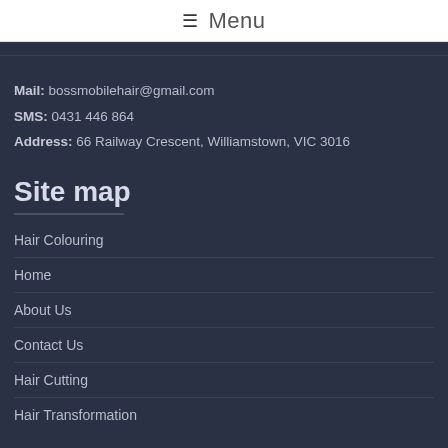≡ Menu
Mail: bossmobilehair@gmail.com
SMS: 0431 446 864
Address: 66 Railway Crescent, Williamstown, VIC 3016
Site map
Hair Colouring
Home
About Us
Contact Us
Hair Cutting
Hair Transformation